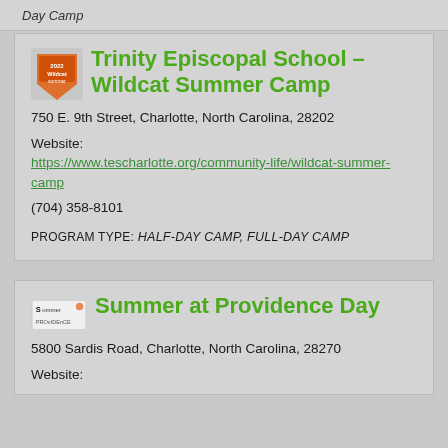Day Camp
Trinity Episcopal School – Wildcat Summer Camp
750 E. 9th Street, Charlotte, North Carolina, 28202
Website:
https://www.tescharlotte.org/community-life/wildcat-summer-camp
(704) 358-8101
PROGRAM TYPE: Half-Day Camp, Full-Day Camp
Summer at Providence Day
5800 Sardis Road, Charlotte, North Carolina, 28270
Website: